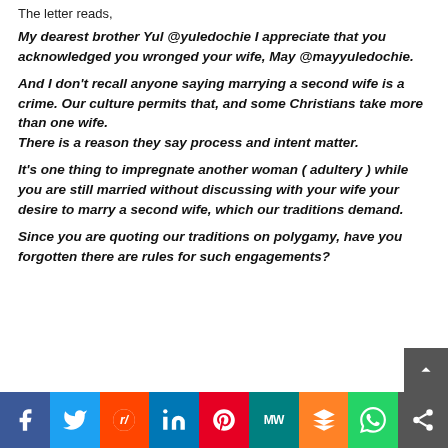The letter reads,
My dearest brother Yul @yuledochie I appreciate that you acknowledged you wronged your wife, May @mayyuledochie. And I don't recall anyone saying marrying a second wife is a crime. Our culture permits that, and some Christians take more than one wife. There is a reason they say process and intent matter.

It's one thing to impregnate another woman ( adultery ) while you are still married without discussing with your wife your desire to marry a second wife, which our traditions demand. Since you are quoting our traditions on polygamy, have you forgotten there are rules for such engagements?
f  Twitter  Reddit  in  Pinterest  MW  Mix  WhatsApp  Share